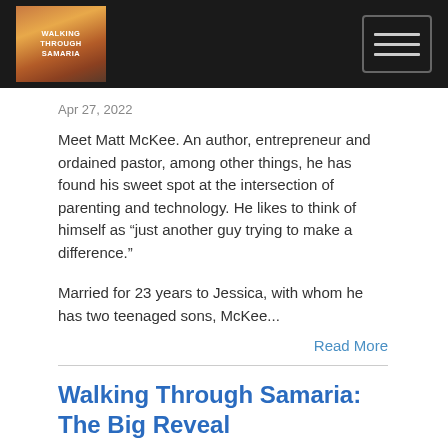Walking Through Samaria [logo] [hamburger menu]
Apr 27, 2022
Meet Matt McKee. An author, entrepreneur and ordained pastor, among other things, he has found his sweet spot at the intersection of parenting and technology. He likes to think of himself as “just another guy trying to make a difference.”
Married for 23 years to Jessica, with whom he has two teenaged sons, McKee...
Read More
Walking Through Samaria: The Big Reveal